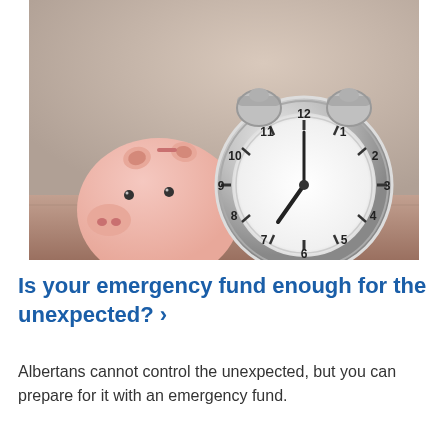[Figure (photo): A pink ceramic piggy bank sitting next to a silver metallic alarm clock on a surface with a blurred background.]
Is your emergency fund enough for the unexpected? ›
Albertans cannot control the unexpected, but you can prepare for it with an emergency fund.